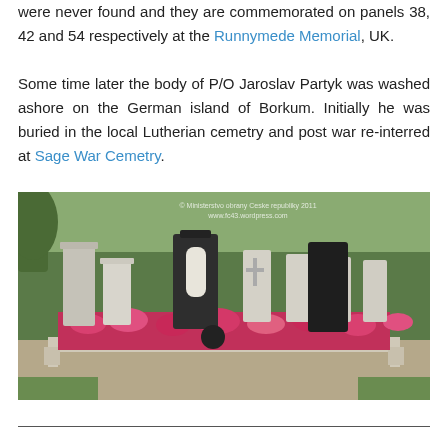were never found and they are commemorated on panels 38, 42 and 54 respectively at the Runnymede Memorial, UK.
Some time later the body of P/O Jaroslav Partyk was washed ashore on the German island of Borkum. Initially he was buried in the local Lutherian cemetry and post war re-interred at Sage War Cemetry.
[Figure (photo): Photograph of a war cemetery showing white headstones and one dark headstone arranged in a row, surrounded by bright red/pink flowers in bloom, with green hedges and trees in the background. A watermark reads: © Ministerstvo obrany Ceske republiky 2011, www.fc43.wordpress.com]
horizontal rule